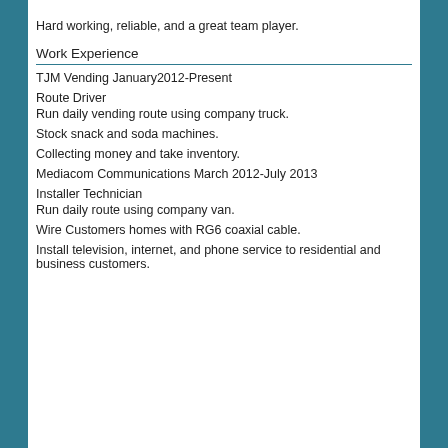Hard working, reliable, and a great team player.
Work Experience
TJM Vending January2012-Present
Route Driver
Run daily vending route using company truck.
Stock snack and soda machines.
Collecting money and take inventory.
Mediacom Communications March 2012-July 2013
Installer Technician
Run daily route using company van.
Wire Customers homes with RG6 coaxial cable.
Install television, internet, and phone service to residential and business customers.